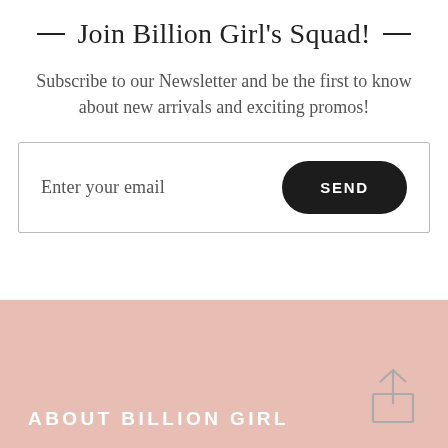Join Billion Girl's Squad!
Subscribe to our Newsletter and be the first to know about new arrivals and exciting promos!
[Figure (other): Email signup form with 'Enter your email' placeholder text and a black rounded 'SEND' button]
ABOUT BILLION GIRL